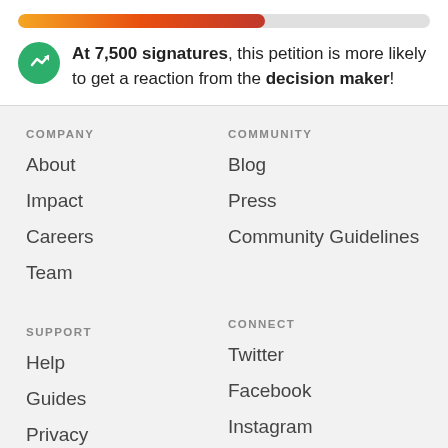[Figure (infographic): Progress bar showing orange-to-red gradient fill at approximately 60% completion]
At 7,500 signatures, this petition is more likely to get a reaction from the decision maker!
COMPANY
About
Impact
Careers
Team
COMMUNITY
Blog
Press
Community Guidelines
SUPPORT
Help
Guides
Privacy
CONNECT
Twitter
Facebook
Instagram